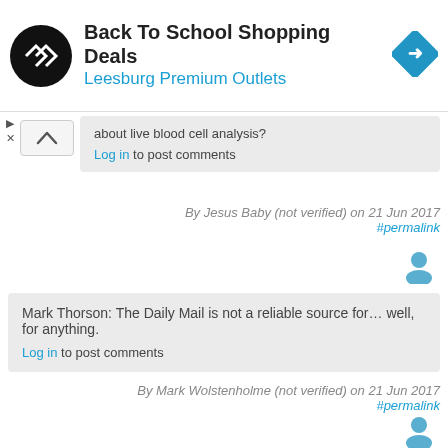[Figure (screenshot): Ad banner: Back To School Shopping Deals at Leesburg Premium Outlets with logo and navigation icon]
about live blood cell analysis?
Log in to post comments
By Jesus Baby (not verified) on 21 Jun 2017 #permalink
Mark Thorson: The Daily Mail is not a reliable source for… well, for anything.
Log in to post comments
By Mark Wolstenholme (not verified) on 21 Jun 2017 #permalink